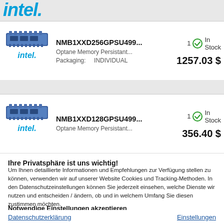[Figure (logo): Intel logo in blue italic at top left]
NMB1XXD256GPSU499...
Optane Memory Persistant...
Packaging: INDIVIDUAL
1257.03 $
1 In Stock
NMB1XXD128GPSU499...
Optane Memory Persistant...
356.40 $
1 In Stock
Ihre Privatsphäre ist uns wichtig!
Um Ihnen detaillierte Informationen und Empfehlungen zur Verfügung stellen zu können, verwenden wir auf unserer Website Cookies und Tracking-Methoden. In den Datenschutzeinstellungen können Sie jederzeit einsehen, welche Dienste wir nutzen und entscheiden / ändern, ob und in welchem Umfang Sie diesen zustimmen möchten.
Notwendige Einstellungen akzeptieren
Ich akzeptiere
Datenschutzerklärung
Einstellungen